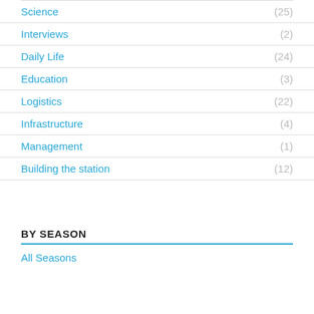Science (25)
Interviews (2)
Daily Life (24)
Education (3)
Logistics (22)
Infrastructure (4)
Management (1)
Building the station (12)
BY SEASON
All Seasons